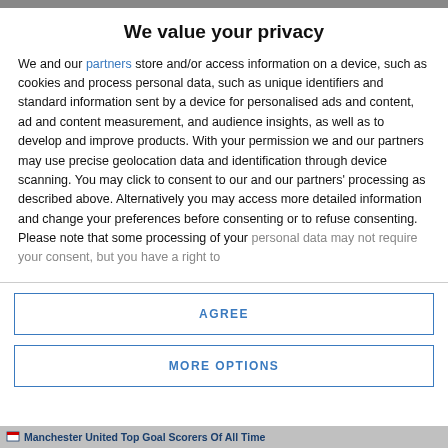We value your privacy
We and our partners store and/or access information on a device, such as cookies and process personal data, such as unique identifiers and standard information sent by a device for personalised ads and content, ad and content measurement, and audience insights, as well as to develop and improve products. With your permission we and our partners may use precise geolocation data and identification through device scanning. You may click to consent to our and our partners' processing as described above. Alternatively you may access more detailed information and change your preferences before consenting or to refuse consenting. Please note that some processing of your personal data may not require your consent, but you have a right to
AGREE
MORE OPTIONS
Manchester United Top Goal Scorers Of All Time